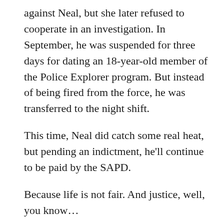against Neal, but she later refused to cooperate in an investigation. In September, he was suspended for three days for dating an 18-year-old member of the Police Explorer program. But instead of being fired from the force, he was transferred to the night shift.
This time, Neal did catch some real heat, but pending an indictment, he’ll continue to be paid by the SAPD.
Because life is not fair. And justice, well, you know…
[Figure (infographic): Share bar with social media icons: Twitter, Facebook, Pinterest, LinkedIn, Tumblr, StumbleUpon, Digg, Reddit, Bebo, Delicious]